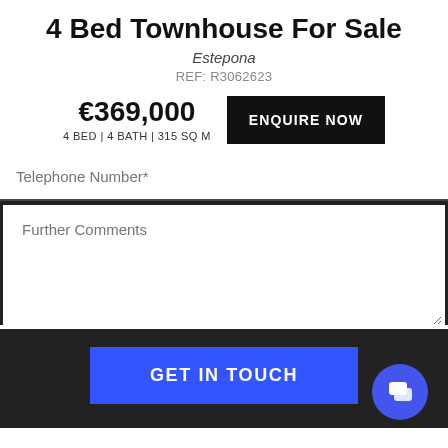4 Bed Townhouse For Sale
Estepona
REF: R3062623
€369,000
4 BED | 4 BATH | 315 SQ M
ENQUIRE NOW
Telephone Number*
Further Comments
GET IN TOUCH